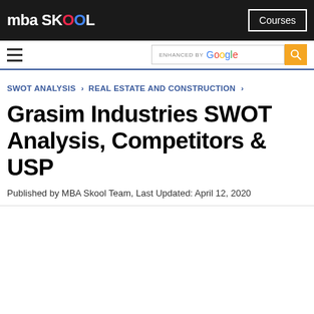mba SKOOL | Courses
SWOT ANALYSIS › REAL ESTATE AND CONSTRUCTION ›
Grasim Industries SWOT Analysis, Competitors & USP
Published by MBA Skool Team, Last Updated: April 12, 2020